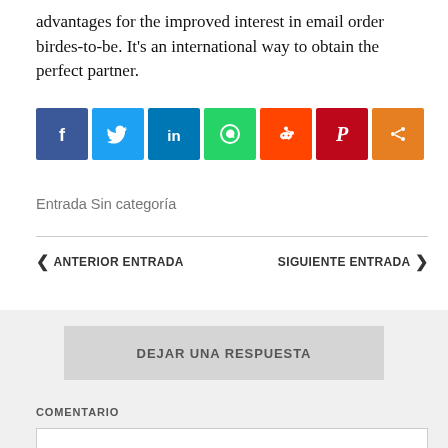advantages for the improved interest in email order birdes-to-be. It’s an international way to obtain the perfect partner.
[Figure (infographic): Row of 7 social media share buttons: Facebook (blue), Twitter (light blue), LinkedIn (dark blue), WhatsApp (green), Reddit (orange-red), Pinterest (dark red), Share/More (orange)]
Entrada Sin categoría
ANTERIOR ENTRADA    SIGUIENTE ENTRADA
DEJAR UNA RESPUESTA
COMENTARIO